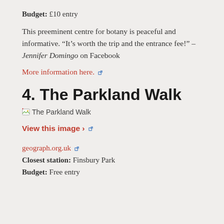Budget: £10 entry
This preeminent centre for botany is peaceful and informative. “It’s worth the trip and the entrance fee!” – Jennifer Domingo on Facebook
More information here.
4. The Parkland Walk
[Figure (photo): Broken image placeholder labeled 'The Parkland Walk']
View this image ›
geograph.org.uk
Closest station: Finsbury Park
Budget: Free entry